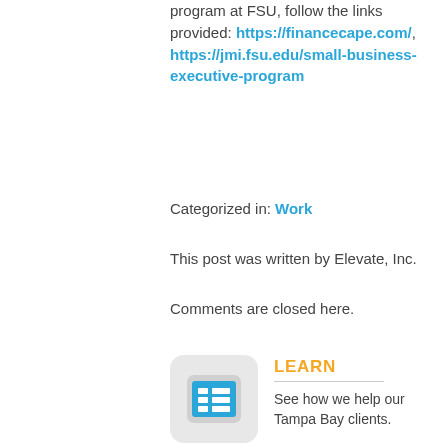program at FSU, follow the links provided: https://financecape.com/, https://jmi.fsu.edu/small-business-executive-program
Categorized in: Work
This post was written by Elevate, Inc.
Comments are closed here.
[Figure (illustration): A rounded rectangle icon resembling a tablet/phone device with a list icon (three horizontal lines with small rectangles) in blue, on a light grey background]
LEARN
See how we help our Tampa Bay clients.